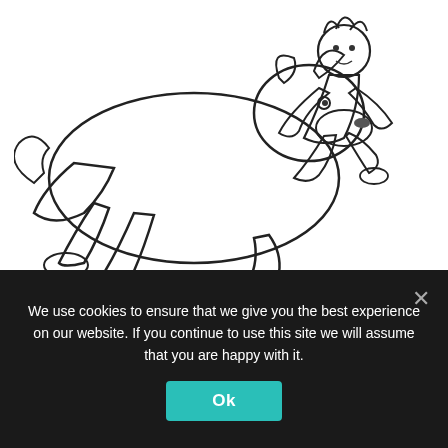[Figure (illustration): Black and white line drawing of Mowgli (a human child) riding or playing with a large wolf, in a coloring page style]
Jungle Book Colouring Pages Mowgli A Human Child Raised By A Group Of Wolves Mowgli Has Been Trai In 2020 Dance Coloring Pages Cartoon Coloring Pages Coloring Books
[Figure (illustration): Partial view of a Jungle Book coloring page showing decorative foliage/flowers on the left and stylized text reading 'Jungle Book' on the right]
We use cookies to ensure that we give you the best experience on our website. If you continue to use this site we will assume that you are happy with it.